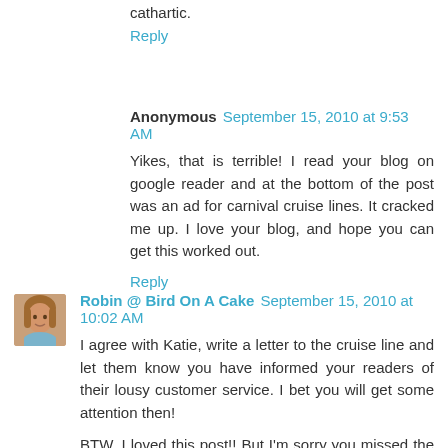cathartic.
Reply
Anonymous  September 15, 2010 at 9:53 AM
Yikes, that is terrible! I read your blog on google reader and at the bottom of the post was an ad for carnival cruise lines. It cracked me up. I love your blog, and hope you can get this worked out.
Reply
Robin @ Bird On A Cake  September 15, 2010 at 10:02 AM
I agree with Katie, write a letter to the cruise line and let them know you have informed your readers of their lousy customer service. I bet you will get some attention then!
BTW, I loved this post!! But I'm sorry you missed the cruise. :0(